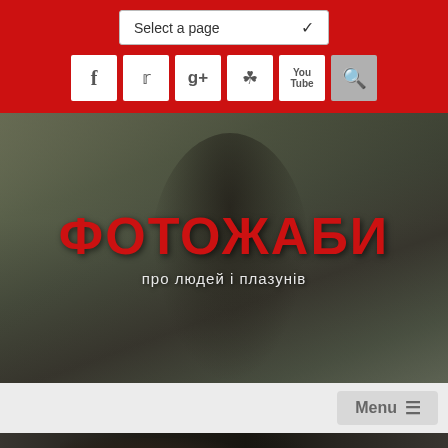Select a page
[Figure (screenshot): Social media icon buttons: Facebook (f), Twitter, Google+, Instagram, YouTube, and Search icons in white boxes on red background]
[Figure (photo): Hero banner image showing an elderly bearded man in camouflage military gear and a fur hat, with other armed soldiers visible in the background. Overlaid with large red Cyrillic text ФОТОЖАБИ and subtitle про людей і плазунів]
ФОТОЖАБИ
про людей і плазунів
[Figure (screenshot): Navigation bar with Menu hamburger button on the right side, gray background]
[Figure (photo): Close-up photo strip of a person in camouflage military clothing holding a weapon, dark tones]
Grand Jury Indicts Suspect in